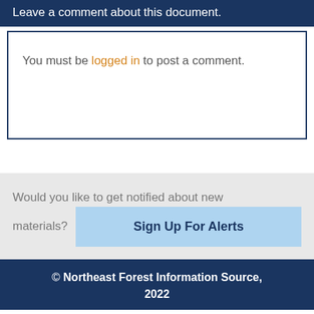Leave a comment about this document.
You must be logged in to post a comment.
Would you like to get notified about new materials?
Sign Up For Alerts
© Northeast Forest Information Source, 2022